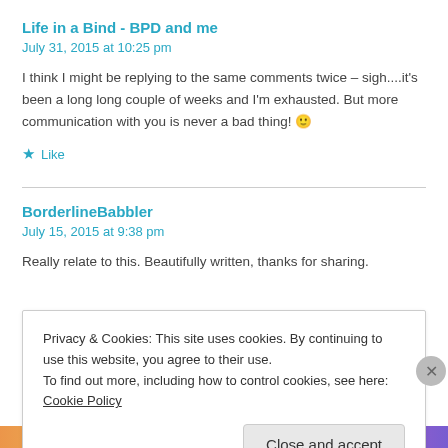Life in a Bind - BPD and me
July 31, 2015 at 10:25 pm
I think I might be replying to the same comments twice – sigh....it's been a long long couple of weeks and I'm exhausted. But more communication with you is never a bad thing! 🙂
★ Like
BorderlineBabbler
July 15, 2015 at 9:38 pm
Really relate to this. Beautifully written, thanks for sharing.
Privacy & Cookies: This site uses cookies. By continuing to use this website, you agree to their use.
To find out more, including how to control cookies, see here: Cookie Policy